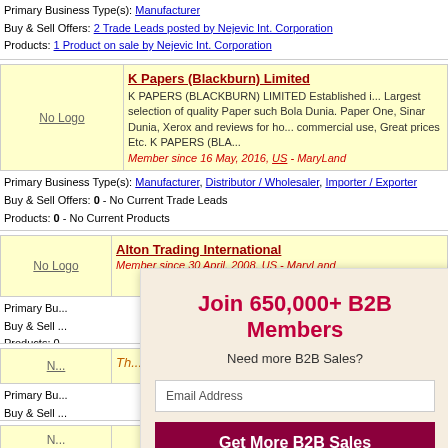Primary Business Type(s): Manufacturer
Buy & Sell Offers: 2 Trade Leads posted by Nejevic Int. Corporation
Products: 1 Product on sale by Nejevic Int. Corporation
K Papers (Blackburn) Limited
K PAPERS (BLACKBURN) LIMITED Established i... Largest selection of quality Paper such Bola Dunia. Paper One, Sinar Dunia, Xerox and reviews for ho... commercial use, Great prices Etc. K PAPERS (BLA...
Member since 16 May, 2016, US - MaryLand
Primary Business Type(s): Manufacturer, Distributor / Wholesaler, Importer / Exporter
Buy & Sell Offers: 0 - No Current Trade Leads
Products: 0 - No Current Products
Alton Trading International
Member since 30 April, 2008, US - MaryLand
Join 650,000+ B2B Members
Need more B2B Sales?
Email Address
Get More B2B Sales